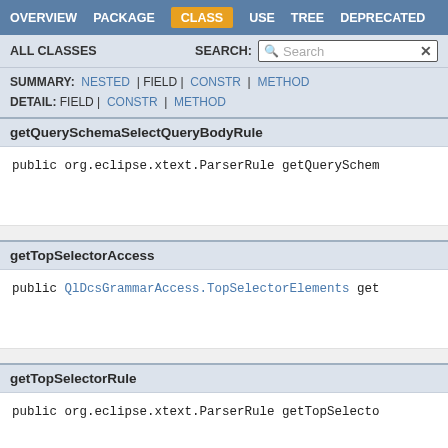OVERVIEW | PACKAGE | CLASS | USE | TREE | DEPRECATED
ALL CLASSES   SEARCH:
SUMMARY: NESTED | FIELD | CONSTR | METHOD
DETAIL: FIELD | CONSTR | METHOD
getQuerySchemaSelectQueryBodyRule
public org.eclipse.xtext.ParserRule getQuerySchema...
getTopSelectorAccess
public QlDcsGrammarAccess.TopSelectorElements get...
getTopSelectorRule
public org.eclipse.xtext.ParserRule getTopSelecto...